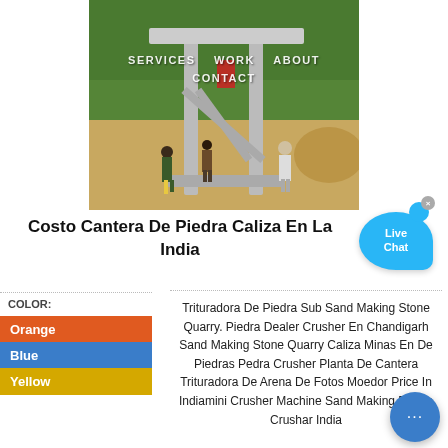[Figure (photo): Construction site photo showing workers assembling a large wooden/concrete frame structure outdoors with trees and sand in the background. Navigation bar overlay with SERVICES, WORK, ABOUT, CONTACT text.]
Costo Cantera De Piedra Caliza En La India
COLOR:
Orange
Blue
Yellow
Trituradora De Piedra Sub Sand Making Stone Quarry. Piedra Dealer Crusher En Chandigarh Sand Making Stone Quarry Caliza Minas En De Piedras Pedra Crusher Planta De Cantera Trituradora De Arena De Fotos Moedor Price In Indiamini Crusher Machine Sand Making Piedra Crushar India